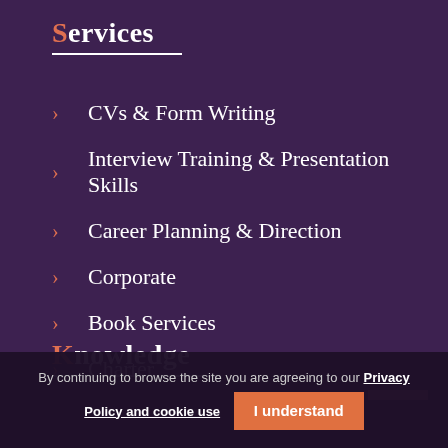Services
CVs & Form Writing
Interview Training & Presentation Skills
Career Planning & Direction
Corporate
Book Services
Charter
Knowledge
By continuing to browse the site you are agreeing to our Privacy Policy and cookie use